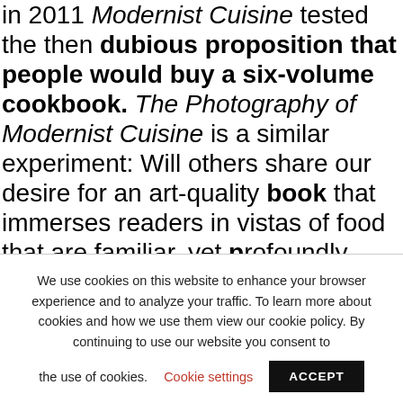in 2011 Modernist Cuisine tested the then dubious proposition that people would buy a six-volume cookbook. The Photography of Modernist Cuisine is a similar experiment: Will others share our desire for an art-quality book that immerses readers in vistas of food that are familiar, yet profoundly new? I hope that readers will be drawn to our photos and will share with us the child-like wonder and curiosity that we feel when we look at them.
We use cookies on this website to enhance your browser experience and to analyze your traffic. To learn more about cookies and how we use them view our cookie policy. By continuing to use our website you consent to the use of cookies. Cookie settings ACCEPT